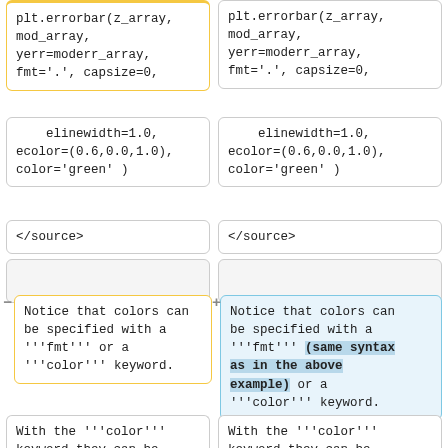plt.errorbar(z_array,
mod_array,
yerr=moderr_array,
fmt='.', capsize=0,
plt.errorbar(z_array,
mod_array,
yerr=moderr_array,
fmt='.', capsize=0,
elinewidth=1.0,
ecolor=(0.6,0.0,1.0),
color='green' )
elinewidth=1.0,
ecolor=(0.6,0.0,1.0),
color='green' )
</source>
</source>
Notice that colors can
be specified with a
'''fmt''' or a
'''color''' keyword.
Notice that colors can
be specified with a
'''fmt''' (same syntax as in the above example) or a
'''color''' keyword.